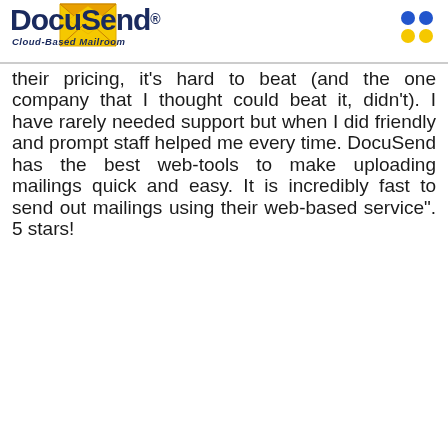DocuSend® Cloud-Based Mailroom
their pricing, it's hard to beat (and the one company that I thought could beat it, didn't). I have rarely needed support but when I did friendly and prompt staff helped me every time. DocuSend has the best web-tools to make uploading mailings quick and easy. It is incredibly fast to send out mailings using their web-based service". 5 stars!